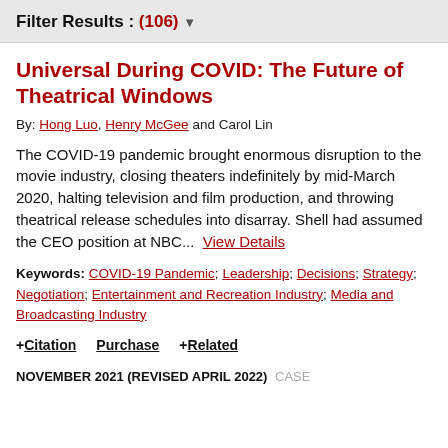Filter Results : (106) ▾
Universal During COVID: The Future of Theatrical Windows
By: Hong Luo, Henry McGee and Carol Lin
The COVID-19 pandemic brought enormous disruption to the movie industry, closing theaters indefinitely by mid-March 2020, halting television and film production, and throwing theatrical release schedules into disarray. Shell had assumed the CEO position at NBC... View Details
Keywords: COVID-19 Pandemic; Leadership; Decisions; Strategy; Negotiation; Entertainment and Recreation Industry; Media and Broadcasting Industry
+ Citation   Purchase   + Related
NOVEMBER 2021 (REVISED APRIL 2022)  CASE